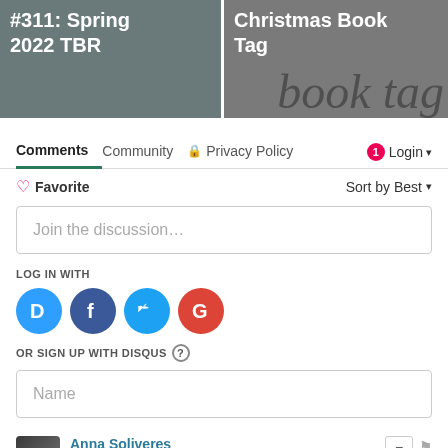[Figure (screenshot): Two thumbnail images side by side: left shows '#311: Spring 2022 TBR', right shows 'Christmas Book Tag' with decorative book tag text in background]
Comments  Community  🔒 Privacy Policy  1  Login
♡ Favorite    Sort by Best ▾
Join the discussion…
LOG IN WITH
[Figure (logo): Social login icons: Disqus (D), Facebook (f), Twitter bird, Google (G)]
OR SIGN UP WITH DISQUS ?
Name
Anna Soliveres
8 years ago